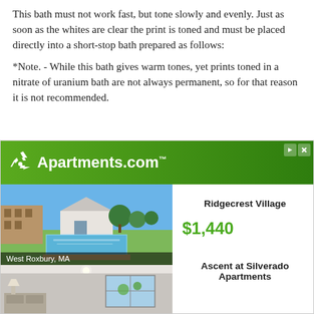This bath must not work fast, but tone slowly and evenly. Just as soon as the whites are clear the print is toned and must be placed directly into a short-stop bath prepared as follows:
*Note. - While this bath gives warm tones, yet prints toned in a nitrate of uranium bath are not always permanent, so for that reason it is not recommended.
[Figure (other): Apartments.com advertisement banner showing the Apartments.com logo with recycling icon on a green gradient background, followed by a photo of Ridgecrest Village apartment complex with pool in West Roxbury, MA and price $1,440, and below it a photo of Ascent at Silverado Apartments interior.]